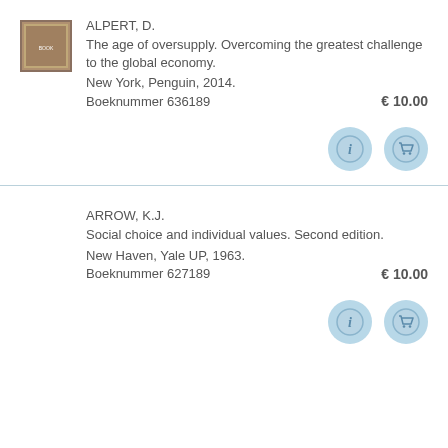[Figure (photo): Book cover thumbnail for 'The age of oversupply']
ALPERT, D.
The age of oversupply. Overcoming the greatest challenge to the global economy.
New York, Penguin, 2014.
Boeknummer 636189   € 10.00
[Figure (infographic): Info button (circle with 'i') and shopping cart button]
ARROW, K.J.
Social choice and individual values. Second edition.
New Haven, Yale UP, 1963.
Boeknummer 627189   € 10.00
[Figure (infographic): Info button (circle with 'i') and shopping cart button]